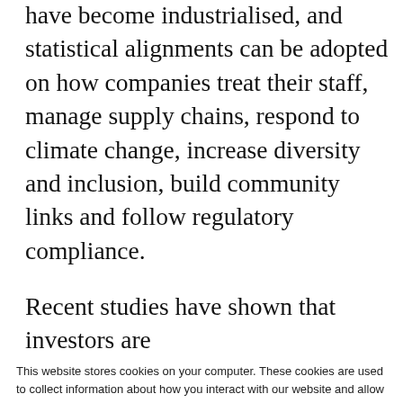have become industrialised, and statistical alignments can be adopted on how companies treat their staff, manage supply chains, respond to climate change, increase diversity and inclusion, build community links and follow regulatory compliance.
Recent studies have shown that investors are
This website stores cookies on your computer. These cookies are used to collect information about how you interact with our website and allow us to remember you. We use this information in order to improve and customize your browsing experience and for analytics and metrics about our visitors both on this website and other media. To find out more about the cookies we use, see our Privacy Policy.
If you decline, your information won't be tracked when you visit this website. A single cookie will be used in your browser to remember your preference not to be tracked.
Accept
Decline